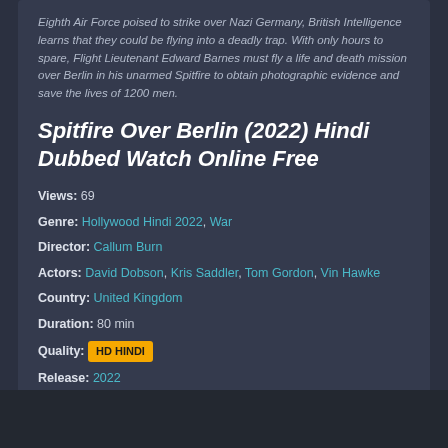Eighth Air Force poised to strike over Nazi Germany, British Intelligence learns that they could be flying into a deadly trap. With only hours to spare, Flight Lieutenant Edward Barnes must fly a life and death mission over Berlin in his unarmed Spitfire to obtain photographic evidence and save the lives of 1200 men.
Spitfire Over Berlin (2022) Hindi Dubbed Watch Online Free
Views: 69
Genre: Hollywood Hindi 2022, War
Director: Callum Burn
Actors: David Dobson, Kris Saddler, Tom Gordon, Vin Hawke
Country: United Kingdom
Duration: 80 min
Quality: HD HINDI
Release: 2022
IMDb: 4.6